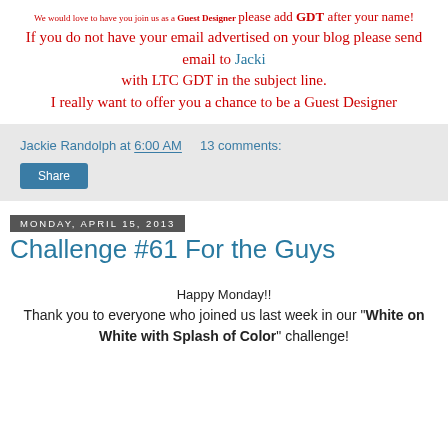We would love to have you join us as a Guest Designer please add GDT after your name! If you do not have your email advertised on your blog please send email to Jacki with LTC GDT in the subject line. I really want to offer you a chance to be a Guest Designer
Jackie Randolph at 6:00 AM    13 comments:
Share
Monday, April 15, 2013
Challenge #61 For the Guys
Happy Monday!! Thank you to everyone who joined us last week in our "White on White with Splash of Color" challenge!